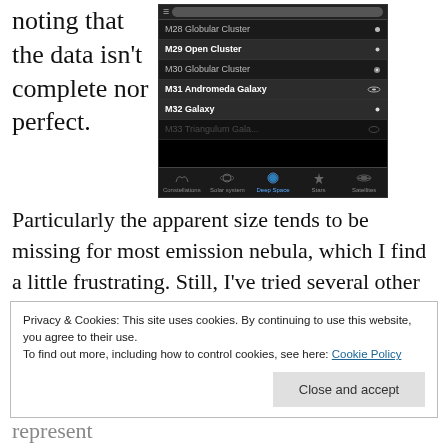noting that the data isn't complete nor perfect.
[Figure (screenshot): Screenshot of a night sky app showing a list of deep space objects: M28 Globular Cluster, M29 Open Cluster (bold), M30 Globular Cluster, M31 Andromeda Galaxy (bold), M32 Galaxy (bold), M33 Triangulum Galaxy (partially visible). Bottom navigation bar shows: Constellations, Solar system, Deep Space (active), Stars, Satellites.]
Particularly the apparent size tends to be missing for most emission nebula, which I find a little frustrating. Still, I've tried several other night sky apps, and Star Walk has by far been the best in terms of ease of use and ascetics. It also manages to make up for some of
Privacy & Cookies: This site uses cookies. By continuing to use this website, you agree to their use.
To find out more, including how to control cookies, see here: Cookie Policy
always in the same ballpark, and likely just represent